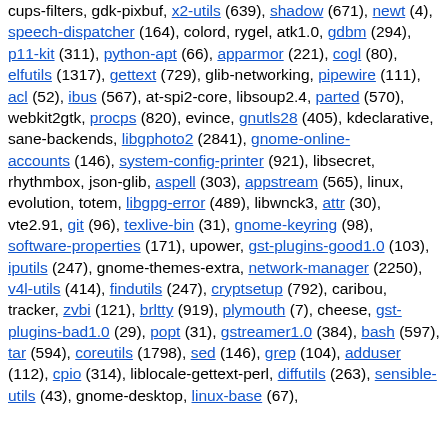cups-filters, gdk-pixbuf, x2-utils (639), shadow (671), newt (4), speech-dispatcher (164), colord, rygel, atk1.0, gdbm (294), p11-kit (311), python-apt (66), apparmor (221), cogl (80), elfutils (1317), gettext (729), glib-networking, pipewire (111), acl (52), ibus (567), at-spi2-core, libsoup2.4, parted (570), webkit2gtk, procps (820), evince, gnutls28 (405), kdeclarative, sane-backends, libgphoto2 (2841), gnome-online-accounts (146), system-config-printer (921), libsecret, rhythmbox, json-glib, aspell (303), appstream (565), linux, evolution, totem, libgpg-error (489), libwnck3, attr (30), vte2.91, git (96), texlive-bin (31), gnome-keyring (98), software-properties (171), upower, gst-plugins-good1.0 (103), iputils (247), gnome-themes-extra, network-manager (2250), v4l-utils (414), findutils (247), cryptsetup (792), caribou, tracker, zvbi (121), brltty (919), plymouth (7), cheese, gst-plugins-bad1.0 (29), popt (31), gstreamer1.0 (384), bash (597), tar (594), coreutils (1798), sed (146), grep (104), adduser (112), cpio (314), liblocale-gettext-perl, diffutils (263), sensible-utils (43), gnome-desktop, linux-base (67),